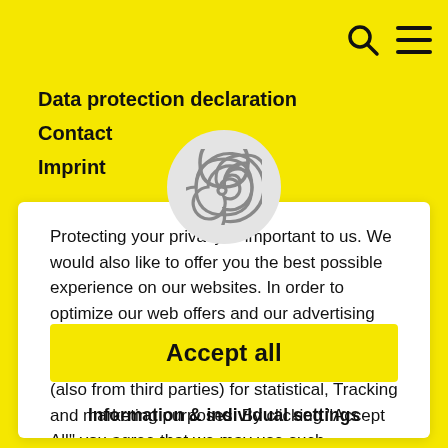[Figure (logo): Search icon (magnifying glass) and hamburger menu icon on yellow background]
Data protection declaration
Contact
Imprint
[Figure (logo): Spiral/fingerprint logo on light grey circle background]
Protecting your privacy is important to us. We would also like to offer you the best possible experience on our websites. In order to optimize our web offers and our advertising information for our customers, we therefore use Cookies, pixels and similar technologies (also from third parties) for statistical, Tracking and marketing purposes. By clicking "Accept All" you agree that we may use such
Accept all
Information & individual settings